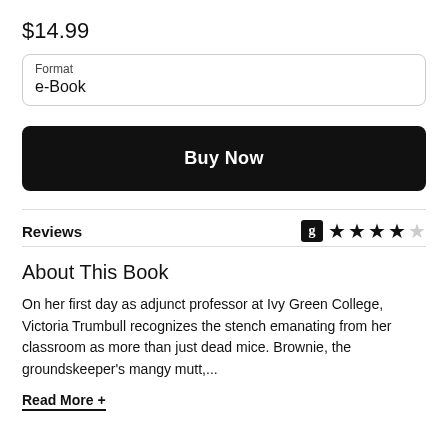$14.99
Format
e-Book
Buy Now
Reviews
[Figure (other): Goodreads icon with 4 out of 5 stars rating]
About This Book
On her first day as adjunct professor at Ivy Green College, Victoria Trumbull recognizes the stench emanating from her classroom as more than just dead mice. Brownie, the groundskeeper's mangy mutt,...
Read More +